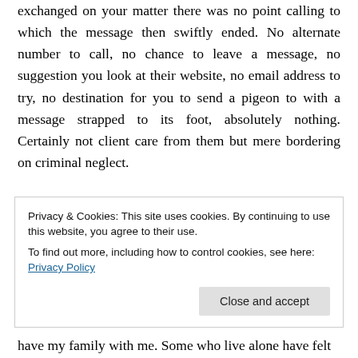exchanged on your matter there was no point calling to which the message then swiftly ended. No alternate number to call, no chance to leave a message, no suggestion you look at their website, no email address to try, no destination for you to send a pigeon to with a message strapped to its foot, absolutely nothing. Certainly not client care from them but mere bordering on criminal neglect.
Some have adapted to this brave new world. I frankly have being able to work at home. I am set up with dual
Privacy & Cookies: This site uses cookies. By continuing to use this website, you agree to their use.
To find out more, including how to control cookies, see here: Privacy Policy
have my family with me. Some who live alone have felt